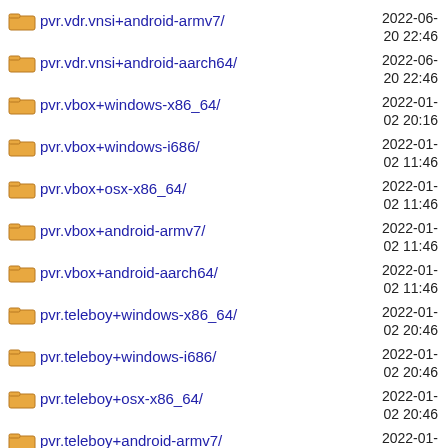pvr.vdr.vnsi+android-armv7/
pvr.vdr.vnsi+android-aarch64/
pvr.vbox+windows-x86_64/
pvr.vbox+windows-i686/
pvr.vbox+osx-x86_64/
pvr.vbox+android-armv7/
pvr.vbox+android-aarch64/
pvr.teleboy+windows-x86_64/
pvr.teleboy+windows-i686/
pvr.teleboy+osx-x86_64/
pvr.teleboy+android-armv7/